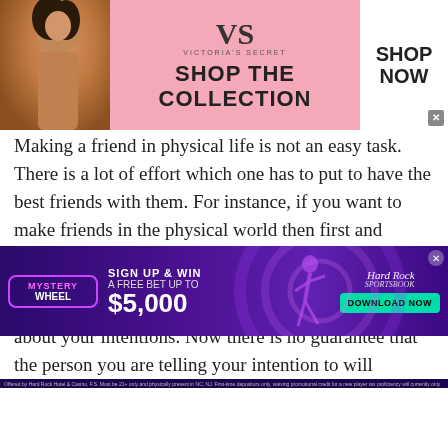[Figure (infographic): Victoria's Secret advertisement banner showing a woman model on left, pink background with VS logo and 'SHOP THE COLLECTION' text in center, and 'SHOP NOW' white button on right]
Making a friend in physical life is not an easy task. There is a lot of effort which one has to put to have the best friends with them. For instance, if you want to make friends in the physical world then first and foremost you will have to approach someone.
On approaching someone you will have to tell them about your intentions. Now there is no guarantee that the person you are telling your intention to will understand you. There are chances that he or she may think that you are vulgar. In such a scenario in spite of having a friendship
[Figure (infographic): Hard Rock Sportsbook advertisement banner with purple background, Mystery Wheel branding, 'SIGN UP & WIN A FREE BET UP TO $5,000' text, player silhouette, Hard Rock Sportsbook logo, and 'DOWNLOAD NOW' button]